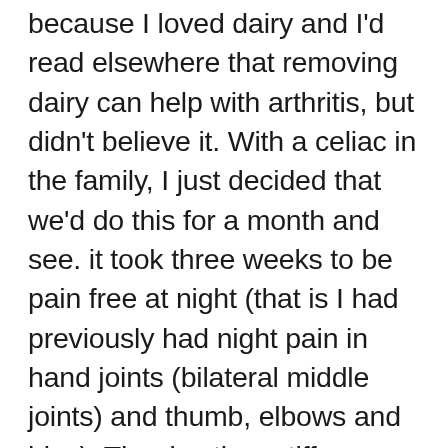because I loved dairy and I'd read elsewhere that removing dairy can help with arthritis, but didn't believe it. With a celiac in the family, I just decided that we'd do this for a month and see. it took three weeks to be pain free at night (that is I had previously had night pain in hand joints (bilateral middle joints) and thumb, elbows and hips). The day time stiffness went fairly quickly, in about two weeks. I've now noticed a real reduction in joint pain on squeezing (that means no pain or stiffness with use but pain on compressing the joint). this has been like a miracle (I hate that word). I've also had a huge leap in pain reduction from torn tendons that i've been rehabilitating for three years now. It's getting easier to be creative with food, and I've had to add soy to